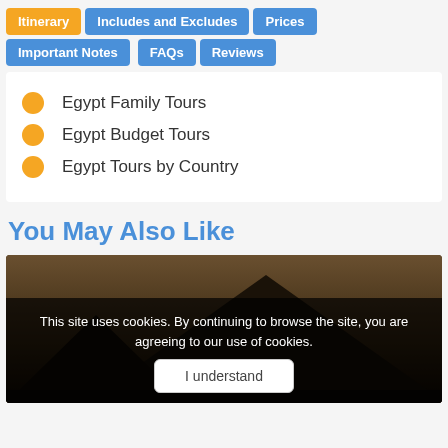Itinerary | Includes and Excludes | Prices | Important Notes | FAQs | Reviews
Egypt Family Tours
Egypt Budget Tours
Egypt Tours by Country
You May Also Like
[Figure (photo): Night photo of Egyptian pyramid with dark sky and warm tones]
This site uses cookies. By continuing to browse the site, you are agreeing to our use of cookies.